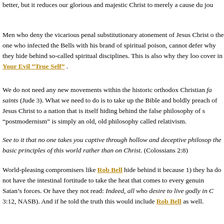better, but it reduces our glorious and majestic Christ to merely a cause du jou
Men who deny the vicarious penal substitutionary atonement of Jesus Christ, the one who infected the Bells with his brand of spiritual poison, cannot defer why they hide behind so-called spiritual disciplines. This is also why they loo cover in Your Evil “True Self” .
We do not need any new movements within the historic orthodox Christian faith (saints (Jude 3). What we need to do is to take up the Bible and boldly preach of Jesus Christ to a nation that is itself hiding behind the false philosophy of s “postmodernism” is simply an old, old philosophy called relativism.
See to it that no one takes you captive through hollow and deceptive philosophy the basic principles of this world rather than on Christ. (Colossians 2:8)
World-pleasing compromisers like Rob Bell hide behind it because 1) they ha do not have the intestinal fortitude to take the heat that comes to every genuin Satan’s forces. Or have they not read: Indeed, all who desire to live godly in C 3:12, NASB). And if he told the truth this would include Rob Bell as well.
In the following letter, which was entitled “I Think Rob Bell Infected Our Yo the heartbreak and division caused by these emerging vipers as more and mor
Hi Pastor Ken,